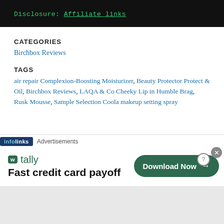Disclosure: Affiliate links
CATEGORIES
Birchbox Reviews
TAGS
air repair Complexion-Boosting Moisturizer, Beauty Protector Protect & Oil, Birchbox Reviews, LAQA & Co Cheeky Lip in Humble Brag, Rusk Mousse, Sample Selection Coola makeup setting spray
[Figure (other): Infolinks advertisement banner for Tally app: 'Fast credit card payoff' with Download Now button]